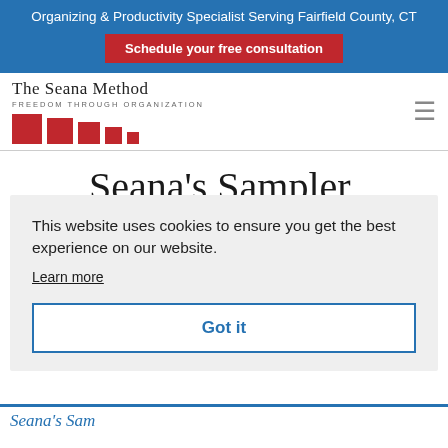Organizing & Productivity Specialist Serving Fairfield County, CT
Schedule your free consultation
[Figure (logo): The Seana Method logo with text 'FREEDOM THROUGH ORGANIZATION' and descending red squares]
Seana's Sampler, Volume 5
This website uses cookies to ensure you get the best experience on our website.
Learn more
Got it